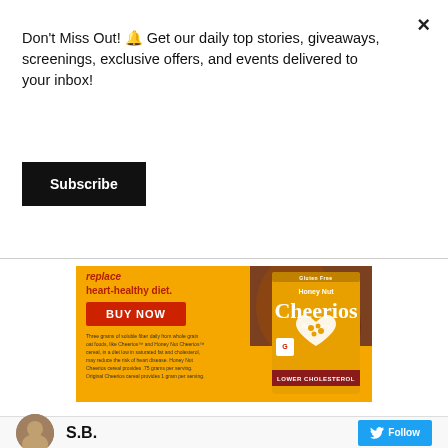Don't Miss Out! 🔔 Get our daily top stories, giveaways, screenings, exclusive offers, and events delivered to your inbox!
Subscribe
[Figure (illustration): Honey Nut Cheerios advertisement banner with orange background, horse photo, red BUY NOW button, and Cheerios box with LOWER CHOLESTEROL badge]
S.B.